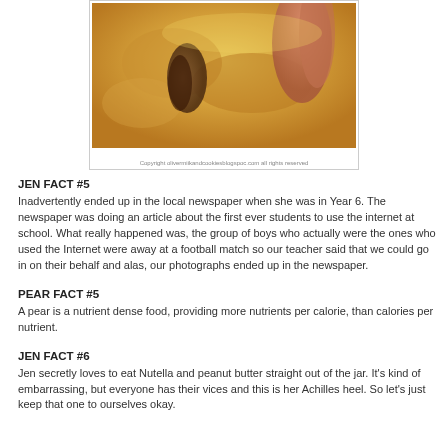[Figure (photo): Close-up food photograph showing cooked or baked dish with warm yellowish-orange tones, with a copyright watermark at the bottom reading copyright olivermiikandcookiesblogspoc.com all rights reserved]
JEN FACT #5
Inadvertently ended up in the local newspaper when she was in Year 6. The newspaper was doing an article about the first ever students to use the internet at school. What really happened was, the group of boys who actually were the ones who used the Internet were away at a football match so our teacher said that we could go in on their behalf and alas, our photographs ended up in the newspaper.
PEAR FACT #5
A pear is a nutrient dense food, providing more nutrients per calorie, than calories per nutrient.
JEN FACT #6
Jen secretly loves to eat Nutella and peanut butter straight out of the jar. It's kind of embarrassing, but everyone has their vices and this is her Achilles heel. So let's just keep that one to ourselves okay.